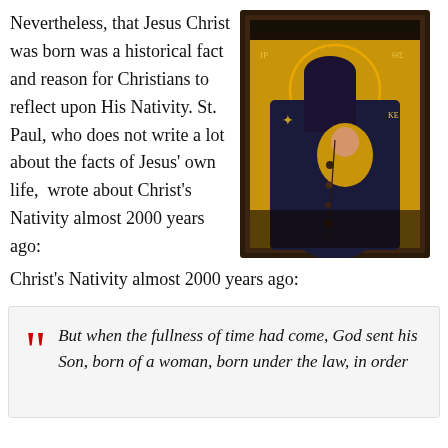Nevertheless, that Jesus Christ was born was a historical fact and reason for Christians to reflect upon His Nativity. St. Paul, who does not write a lot about the facts of Jesus' own life, wrote about Christ's Nativity almost 2000 years ago:
[Figure (photo): Orthodox icon painting of the Virgin Mary (Theotokos) holding the Christ Child, framed in dark wood with gold background, decorated with rosary beads]
But when the fullness of time had come, God sent his Son, born of a woman, born under the law, in order